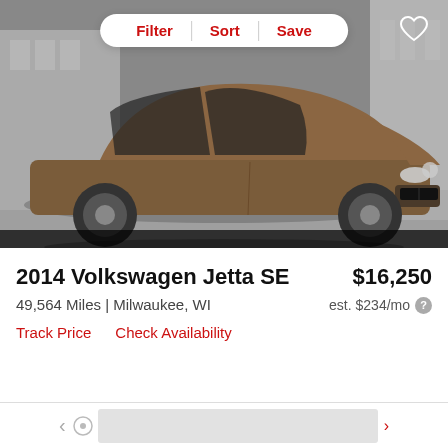[Figure (photo): Brown 2014 Volkswagen Jetta SE sedan photographed in a parking lot at a dealership, three-quarter front view]
2014 Volkswagen Jetta SE
$16,250
49,564 Miles | Milwaukee, WI
est. $234/mo
Track Price    Check Availability